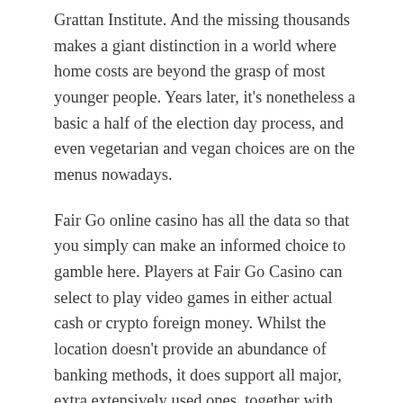Grattan Institute. And the missing thousands makes a giant distinction in a world where home costs are beyond the grasp of most younger people. Years later, it's nonetheless a basic a half of the election day process, and even vegetarian and vegan choices are on the menus nowadays.
Fair Go online casino has all the data so that you simply can make an informed choice to gamble here. Players at Fair Go Casino can select to play video games in either actual cash or crypto foreign money. Whilst the location doesn't provide an abundance of banking methods, it does support all major, extra extensively used ones, together with MasterCard, Visa, financial institution switch and Neosurf. Neosurf is an easy, secure way to pay and play online without an energetic fee card. Local gross sales points are used to transform cash to Neosurf vouchers, whereby a unique pin code is provided to be used together with your